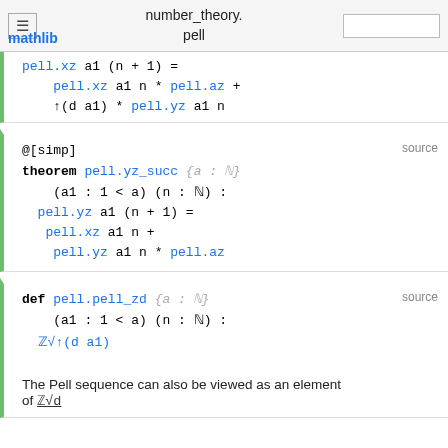≡  number_theory.pell  [search box]
mathlib
The Pell sequence can also be viewed as an element of ℤ√d